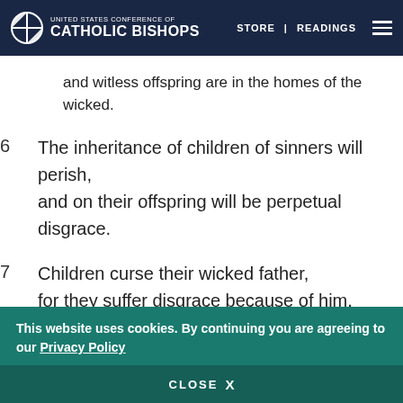UNITED STATES CONFERENCE OF CATHOLIC BISHOPS | STORE | READINGS
and witless offspring are in the homes of the wicked.
6  The inheritance of children of sinners will perish,
    and on their offspring will be perpetual disgrace.
7  Children curse their wicked father,
    for they suffer disgrace because of him.
This website uses cookies. By continuing you are agreeing to our Privacy Policy
CLOSE  X